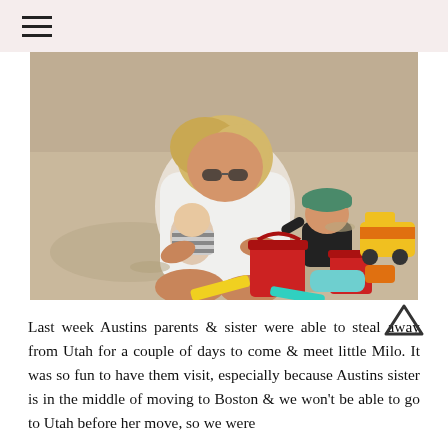≡
[Figure (photo): A woman with blonde hair sits on sandy beach ground holding a baby in a striped outfit, while a toddler in a black shirt and green cap plays beside her. Yellow and red toy trucks and red sand buckets are scattered around them on the sand.]
Last week Austins parents & sister were able to steal away from Utah for a couple of days to come & meet little Milo. It was so fun to have them visit, especially because Austins sister is in the middle of moving to Boston & we won't be able to go to Utah before her move, so we were